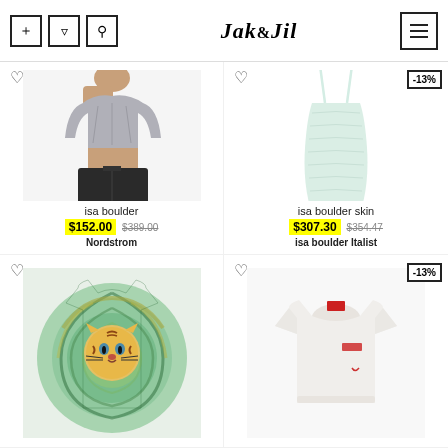Jak&Jil
[Figure (photo): Woman wearing a grey one-shoulder ruched crop top with dark jeans]
isa boulder
$152.00 $389.00
Nordstrom
[Figure (photo): Light mint green ruched spaghetti-strap mini dress on white background]
isa boulder skin
$307.30 $354.47
isa boulder Italist
[Figure (photo): Green tie-dye t-shirt with tiger face graphic print]
[Figure (photo): White cropped sweatshirt with small red logo detail]